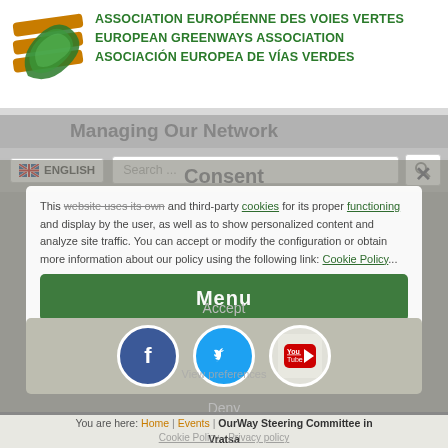[Figure (logo): European Greenways Association logo: a stylized green leaf/arrow shape]
ASSOCIATION EUROPÉENNE DES VOIES VERTES
EUROPEAN GREENWAYS ASSOCIATION
ASOCIACIÓN EUROPEA DE VÍAS VERDES
ENGLISH
Search ...
Consent
This website uses its own and third-party cookies for its proper functioning and display by the user, as well as to show personalized content and analyze site traffic. You can accept or modify the configuration or obtain more information about our policy using the following link: Cookie Policy...
Menu
Accept
[Figure (illustration): Facebook, Twitter, and YouTube social media icon circles]
Deny
View preferences
You are here:  Home  |  Events  |  OurWay Steering Committee in Vratsa
Cookie Policy - Privacy policy